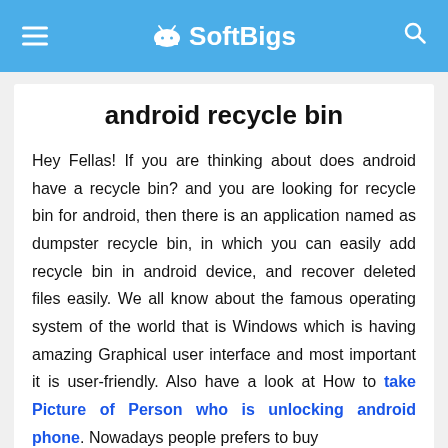≡ SoftBigs 🔍
android recycle bin
Hey Fellas! If you are thinking about does android have a recycle bin? and you are looking for recycle bin for android, then there is an application named as dumpster recycle bin, in which you can easily add recycle bin in android device, and recover deleted files easily. We all know about the famous operating system of the world that is Windows which is having amazing Graphical user interface and most important it is user-friendly. Also have a look at How to take Picture of Person who is unlocking android phone. Nowadays people prefers to buy